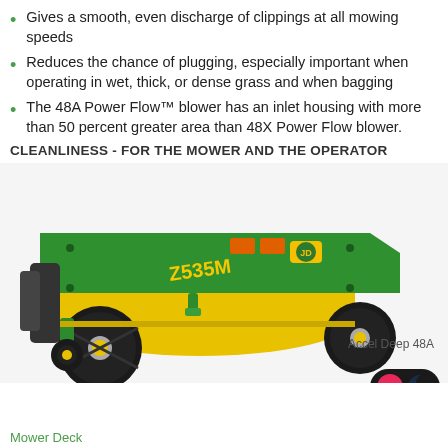Gives a smooth, even discharge of clippings at all mowing speeds
Reduces the chance of plugging, especially important when operating in wet, thick, or dense grass and when bagging
The 48A Power Flow™ blower has an inlet housing with more than 50 percent greater area than 48X Power Flow blower.
CLEANLINESS - FOR THE MOWER AND THE OPERATOR
[Figure (photo): John Deere Z535M zero-turn mower with green Accel Deep 48A mower deck and yellow mowing deck. The mower is shown from the front-side angle with large black tires visible.]
Accel Deep 48A
Mower Deck